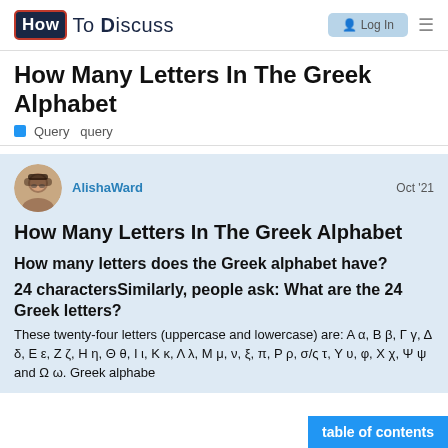How To Discuss — Log In
How Many Letters In The Greek Alphabet
Query  query
AlishaWard   Oct '21
How Many Letters In The Greek Alphabet
How many letters does the Greek alphabet have?
24 charactersSimilarly, people ask: What are the 24 Greek letters?
These twenty-four letters (uppercase and lowercase) are: A α, B β, Γ γ, Δ δ, Ε ε, Ζ ζ, Η η, Θ θ, Ι ι, Κ κ, Λ λ, Μ μ, ν, ξ, π, Ρ ρ, σ/ς τ, Υ υ, φ, Χ χ, Ψ ψ and Ω ω. Greek alphabe   table of contents